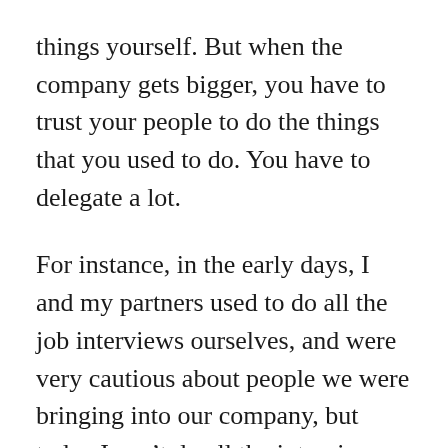things yourself. But when the company gets bigger, you have to trust your people to do the things that you used to do. You have to delegate a lot.
For instance, in the early days, I and my partners used to do all the job interviews ourselves, and were very cautious about people we were bringing into our company, but today I can't do all the interviews even if I wanted to because I have other responsibilities.
When you are a small team, nearly